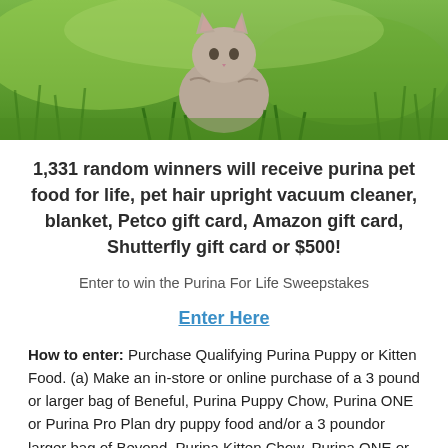[Figure (photo): A gray tabby kitten sitting in green grass outdoors]
1,331 random winners will receive purina pet food for life, pet hair upright vacuum cleaner, blanket, Petco gift card, Amazon gift card, Shutterfly gift card or $500!
Enter to win the Purina For Life Sweepstakes
Enter Here
How to enter: Purchase Qualifying Purina Puppy or Kitten Food. (a) Make an in-store or online purchase of a 3 pound or larger bag of Beneful, Purina Puppy Chow, Purina ONE or Purina Pro Plan dry puppy food and/or a 3 poundor larger bag of Beyond, Purina Kitten Chow, Purina ONE or Purina